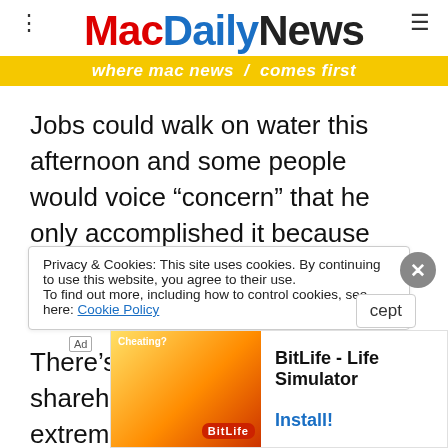MacDailyNews — where mac news comes first
Jobs could walk on water this afternoon and some people would voice "concern" that he only accomplished it because he's lost so much weight that he's about to ascend into heaven.
There's only so much Apple shareholders can take. An extremely well-positioned, successful company having its share price driven down artificially whenever some short seller desires to cry wolf, er… "gaunt" is not something serious, or even casual, investors welcome
Privacy & Cookies: This site uses cookies. By continuing to use this website, you agree to their use. To find out more, including how to control cookies, see here: Cookie Policy
[Figure (screenshot): BitLife - Life Simulator advertisement banner at the bottom of the page]
reinst…